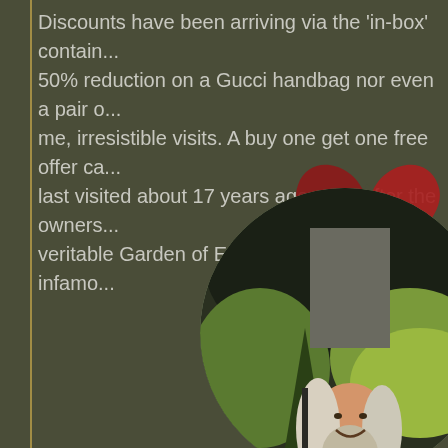Discounts have been arriving via the 'in-box' contain... 50% reduction on a Gucci handbag nor even a pair o... me, irresistible visits. A buy one get one free offer ca... last visited about 17 years ago soon after the owners... veritable Garden of Eden, transformed by the infamo...
[Figure (photo): A circular cropped photograph showing an older man with long white/grey hair and beard, smiling, in a lush garden with topiary and trees. A broken red heart graphic overlays the upper right portion of the image.]